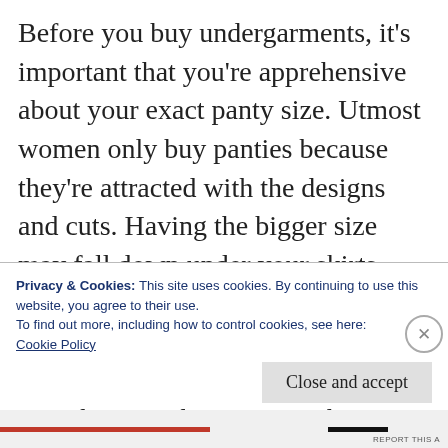Before you buy undergarments, it's important that you're apprehensive about your exact panty size. Utmost women only buy panties because they're attracted with the designs and cuts. Having the bigger size may fall down under your skirts, while lower can make you feel uncomfortable and could produce panty lines. Women must be apprehensive that wearing the impeccably fitted panties can promote comfort and confidence. You can get
Privacy & Cookies: This site uses cookies. By continuing to use this website, you agree to their use.
To find out more, including how to control cookies, see here: Cookie Policy
Close and accept